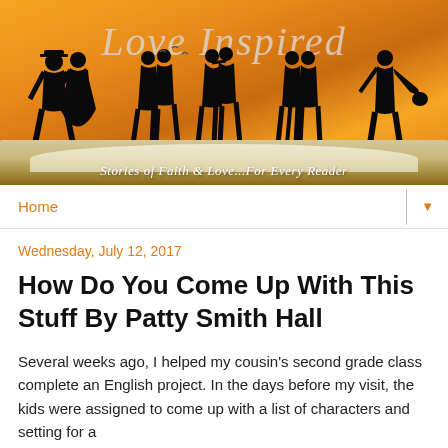[Figure (illustration): Love Inspired blog banner with silhouettes of romantic couples dancing and embracing atop an open book, golden/orange sunset background, with text 'Love Inspired' and tagline 'Stories of Faith & Love...For Every Reader']
Home
Wednesday, July 12, 2017
How Do You Come Up With This Stuff By Patty Smith Hall
Several weeks ago, I helped my cousin's second grade class complete an English project. In the days before my visit, the kids were assigned to come up with a list of characters and setting for a